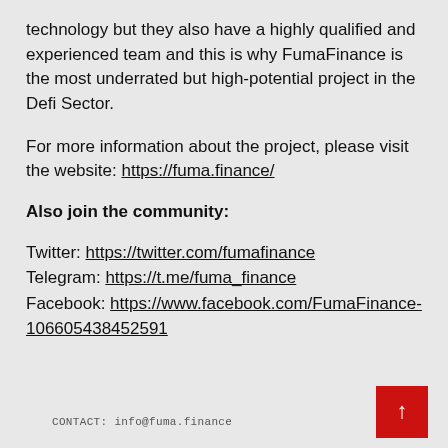technology but they also have a highly qualified and experienced team and this is why FumaFinance is the most underrated but high-potential project in the Defi Sector.
For more information about the project, please visit the website: https://fuma.finance/
Also join the community:
Twitter: https://twitter.com/fumafinance
Telegram: https://t.me/fuma_finance
Facebook: https://www.facebook.com/FumaFinance-106605438452591
CONTACT: info@fuma.finance